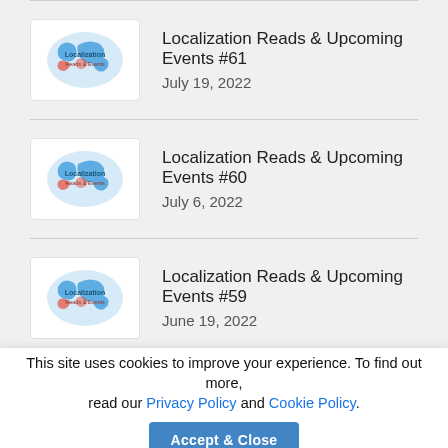Localization Reads & Upcoming Events #61
July 19, 2022
Localization Reads & Upcoming Events #60
July 6, 2022
Localization Reads & Upcoming Events #59
June 19, 2022
Memberships
This site uses cookies to improve your experience. To find out more, read our Privacy Policy and Cookie Policy.